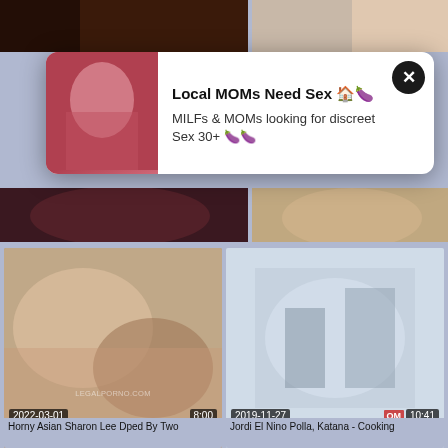[Figure (photo): Top-left thumbnail: dark toned adult content image]
[Figure (photo): Top-right thumbnail: light toned adult content image]
Local MOMs Need Sex 🏠🍆
MILFs & MOMs looking for discreet Sex 30+ 🍆🍆
[Figure (photo): Middle-left thumbnail: adult content image with two women]
[Figure (photo): Middle-right thumbnail: adult content image]
[Figure (photo): Bottom-left video thumbnail: 2022-03-01, duration 8:00, watermark LEGALPORNO.COM]
Horny Asian Sharon Lee Dped By Two
[Figure (photo): Bottom-right video thumbnail: 2019-11-27, duration 10:41, watermark OM]
Jordi El Nino Polla, Katana - Cooking